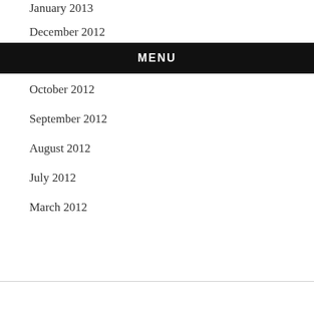January 2013
December 2012
MENU
October 2012
September 2012
August 2012
July 2012
March 2012